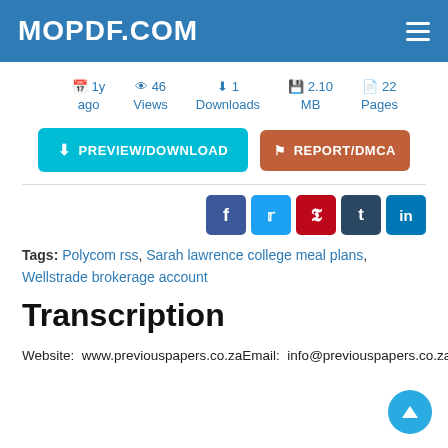MOPDF.COM
1y ago  46 Views  1 Downloads  2.10 MB  22 Pages
PREVIEW/DOWNLOAD  REPORT/DMCA
[Figure (infographic): Social share buttons: Facebook, Twitter, Pinterest, Tumblr, LinkedIn]
Tags: Polycom rss, Sarah lawrence college meal plans, Wellstrade brokerage account
Transcription
Website:  www.previouspapers.co.zaEmail:  info@previouspapers.co.zaCELL:  073  770  3028PAST